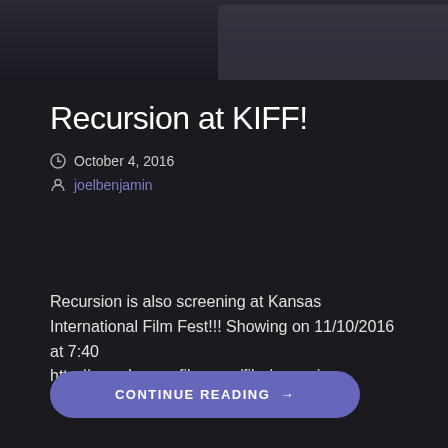[Figure (photo): Partial dark screenshot or photo visible at the top of the page]
Recursion at KIFF!
October 4, 2016
joelbenjamin
Recursion is also screening at Kansas International Film Fest!!! Showing on 11/10/2016 at 7:40
http://www.kansasfilm.com/film/recursion
CONTINUE READING →